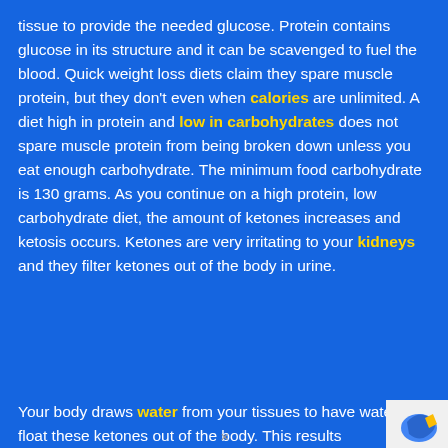tissue to provide the needed glucose. Protein contains glucose in its structure and it can be scavenged to fuel the blood. Quick weight loss diets claim they spare muscle protein, but they don't even when calories are unlimited. A diet high in protein and low in carbohydrates does not spare muscle protein from being broken down unless you eat enough carbohydrate. The minimum food carbohydrate is 130 grams. As you continue on a high protein, low carbohydrate diet, the amount of ketones increases and ketosis occurs. Ketones are very irritating to your kidneys and they filter ketones out of the body in urine.

Your body draws water from your tissues to have water to float these ketones out of the body. This results